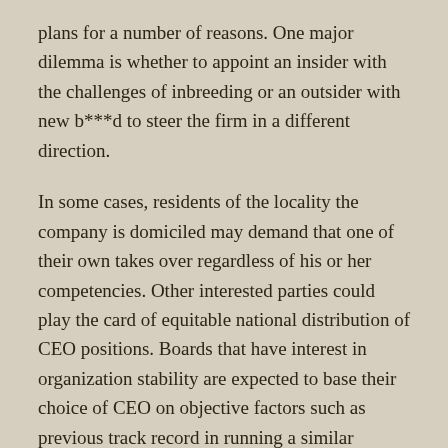plans for a number of reasons. One major dilemma is whether to appoint an insider with the challenges of inbreeding or an outsider with new b***d to steer the firm in a different direction.
In some cases, residents of the locality the company is domiciled may demand that one of their own takes over regardless of his or her competencies. Other interested parties could play the card of equitable national distribution of CEO positions. Boards that have interest in organization stability are expected to base their choice of CEO on objective factors such as previous track record in running a similar enterprise, among others.
Pool of Future CEOs
In the developed world, renowned business schools such Harvard and Oxford prepare graduates who later on qualify